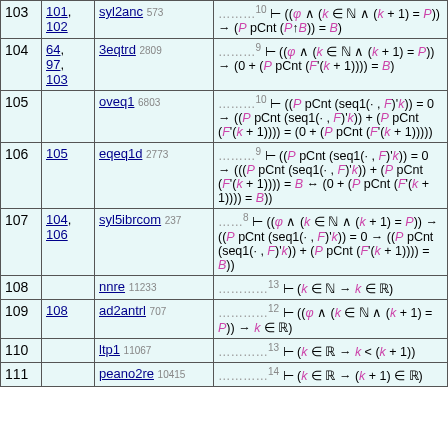| # | Refs | Rule | Formula |
| --- | --- | --- | --- |
| 103 | 101, 102 | syl2anc 573 | ⊢ ((φ ∧ (k ∈ ℕ ∧ (k+1) = P)) → (P pCnt (P↑B)) = B) |
| 104 | 64, 97, 103 | 3eqtrd 2809 | ⊢ ((φ ∧ (k ∈ ℕ ∧ (k+1) = P)) → (0 + (P pCnt (F'(k+1)))) = B) |
| 105 |  | oveq1 6803 | ⊢ ((P pCnt (seq1(·,F)'k)) = 0 → ((P pCnt (seq1(·,F)'k)) + (P pCnt (F'(k+1)))) = (0 + (P pCnt (F'(k+1))))) |
| 106 | 105 | eqeq1d 2773 | ⊢ ((P pCnt (seq1(·,F)'k)) = 0 → (((P pCnt (seq1(·,F)'k)) + (P pCnt (F'(k+1)))) = B ↔ (0 + (P pCnt (F'(k+1)))) = B)) |
| 107 | 104, 106 | syl5ibrcom 237 | ⊢ ((φ ∧ (k ∈ ℕ ∧ (k+1) = P)) → ((P pCnt (seq1(·,F)'k)) = 0 → ((P pCnt (seq1(·,F)'k)) + (P pCnt (F'(k+1)))) = B)) |
| 108 |  | nnre 11233 | ⊢ (k ∈ ℕ → k ∈ ℝ) |
| 109 | 108 | ad2antrl 707 | ⊢ ((φ ∧ (k ∈ ℕ ∧ (k+1) = P)) → k ∈ ℝ) |
| 110 |  | ltp1 11067 | ⊢ (k ∈ ℝ → k < (k+1)) |
| 111 |  | peano2re 10415 | ⊢ (k ∈ ℝ → (k+1) ∈ ℝ) |